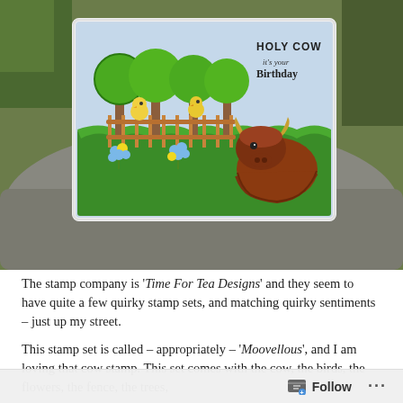[Figure (photo): A handmade birthday card featuring a highland cow, birds, wooden fence, green trees, and colorful flowers on a grass background, with 'HOLY COW it's your Birthday' text in the upper right. The card is photographed outdoors on a stone surface with greenery in the background.]
The stamp company is 'Time For Tea Designs' and they seem to have quite a few quirky stamp sets, and matching quirky sentiments – just up my street.
This stamp set is called – appropriately – 'Moovellous', and I am loving that cow stamp. This set comes with the cow, the birds, the flowers, the fence, the trees,